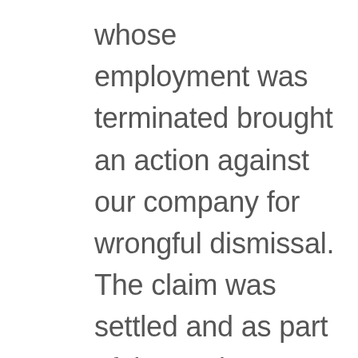whose employment was terminated brought an action against our company for wrongful dismissal. The claim was settled and as part of the settlement the employee signed a full and final release in favour of the company. The release included any and all claims related to the employee's employment or the termination of that...